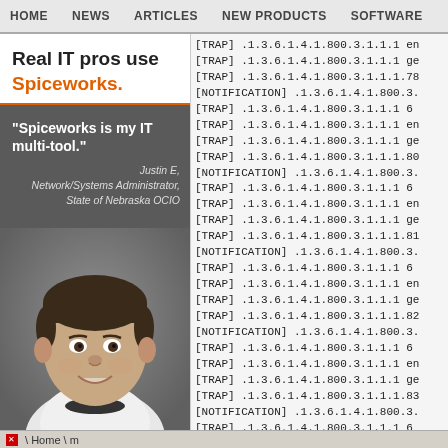HOME  NEWS  ARTICLES  NEW PRODUCTS  SOFTWARE
[Figure (illustration): Advertisement for Spiceworks showing 'Real IT pros use Spiceworks.' with a photo of Justin E, Network/Systems Administrator, State of Nebraska OCIO, and a quote 'Spiceworks is my IT multi-tool.']
[TRAP] .1.3.6.1.4.1.800.3.1.1.1 en
[TRAP] .1.3.6.1.4.1.800.3.1.1.1 ge
[TRAP] .1.3.6.1.4.1.800.3.1.1.1.78
[NOTIFICATION] .1.3.6.1.4.1.800.3.
[TRAP] .1.3.6.1.4.1.800.3.1.1.1 6
[TRAP] .1.3.6.1.4.1.800.3.1.1.1 en
[TRAP] .1.3.6.1.4.1.800.3.1.1.1 ge
[TRAP] .1.3.6.1.4.1.800.3.1.1.1.80
[NOTIFICATION] .1.3.6.1.4.1.800.3.
[TRAP] .1.3.6.1.4.1.800.3.1.1.1 6
[TRAP] .1.3.6.1.4.1.800.3.1.1.1 en
[TRAP] .1.3.6.1.4.1.800.3.1.1.1 ge
[TRAP] .1.3.6.1.4.1.800.3.1.1.1.81
[NOTIFICATION] .1.3.6.1.4.1.800.3.
[TRAP] .1.3.6.1.4.1.800.3.1.1.1 6
[TRAP] .1.3.6.1.4.1.800.3.1.1.1 en
[TRAP] .1.3.6.1.4.1.800.3.1.1.1 ge
[TRAP] .1.3.6.1.4.1.800.3.1.1.1.82
[NOTIFICATION] .1.3.6.1.4.1.800.3.
[TRAP] .1.3.6.1.4.1.800.3.1.1.1 6
[TRAP] .1.3.6.1.4.1.800.3.1.1.1 en
[TRAP] .1.3.6.1.4.1.800.3.1.1.1 ge
[TRAP] .1.3.6.1.4.1.800.3.1.1.1.83
[NOTIFICATION] .1.3.6.1.4.1.800.3.
[TRAP] .1.3.6.1.4.1.800.3.1.1.1 6
✕ \ Home \ m